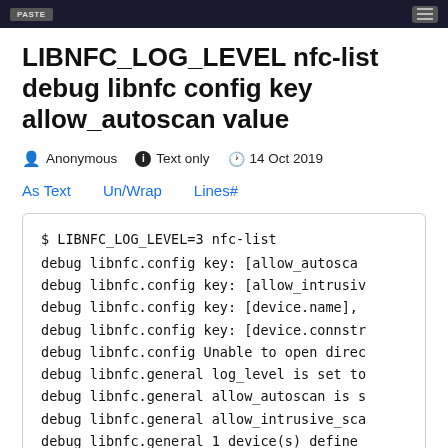LIBNFC_LOG_LEVEL nfc-list debug libnfc config key allow_autoscan value
LIBNFC_LOG_LEVEL nfc-list debug libnfc config key allow_autoscan value
Anonymous   Text only   14 Oct 2019
As Text   Un/Wrap   Lines#
$ LIBNFC_LOG_LEVEL=3 nfc-list
 debug    libnfc.config    key: [allow_autosca...
 debug    libnfc.config    key: [allow_intrusiv...
 debug    libnfc.config    key: [device.name],...
 debug    libnfc.config    key: [device.connstr...
 debug    libnfc.config    Unable to open direc...
 debug    libnfc.general   log_level is set to...
 debug    libnfc.general   allow_autoscan is s...
 debug    libnfc.general   allow_intrusive_sca...
 debug    libnfc.general   1 device(s) define...